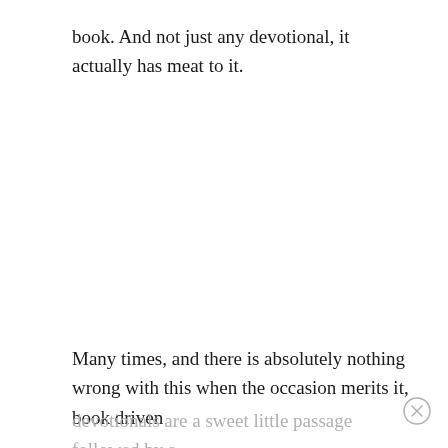book. And not just any devotional, it actually has meat to it.
Many times, and there is absolutely nothing wrong with this when the occasion merits it, book driven
devotionals are a sweet little passage followed by a